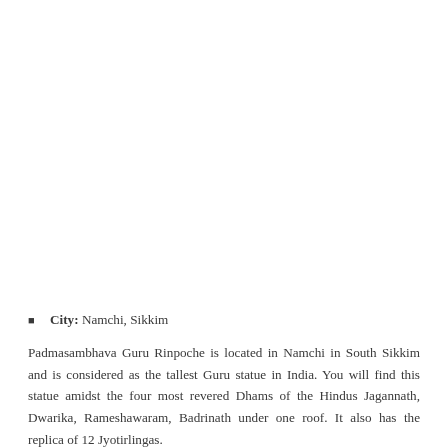City: Namchi, Sikkim
Padmasambhava Guru Rinpoche is located in Namchi in South Sikkim and is considered as the tallest Guru statue in India. You will find this statue amidst the four most revered Dhams of the Hindus Jagannath, Dwarika, Rameshawaram, Badrinath under one roof. It also has the replica of 12 Jyotirlingas.